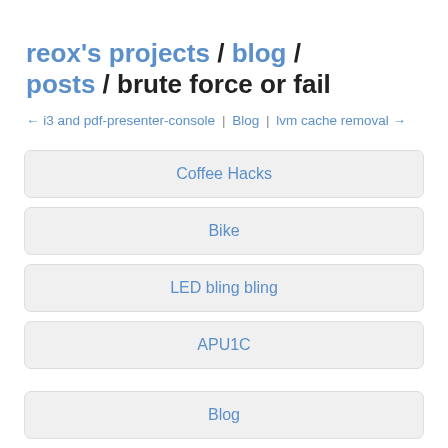reox's projects / blog / posts / brute force or fail
← i3 and pdf-presenter-console | Blog | lvm cache removal →
Coffee Hacks
Bike
LED bling bling
APU1C
Blog